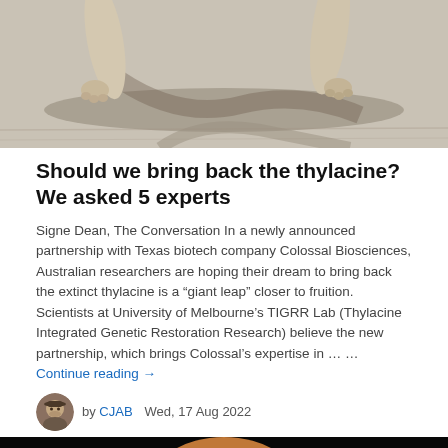[Figure (photo): Close-up photo of thylacine legs/feet walking on a light surface, partial shot showing animal feet and shadow]
Should we bring back the thylacine? We asked 5 experts
Signe Dean, The Conversation In a newly announced partnership with Texas biotech company Colossal Biosciences, Australian researchers are hoping their dream to bring back the extinct thylacine is a “giant leap” closer to fruition. Scientists at University of Melbourne’s TIGRR Lab (Thylacine Integrated Genetic Restoration Research) believe the new partnership, which brings Colossal’s expertise in … … Continue reading →
by CJAB   Wed, 17 Aug 2022
[Figure (photo): Close-up dramatic photo of a primate (possibly reconstructed hominid) face with wide eyes against a dark black background]